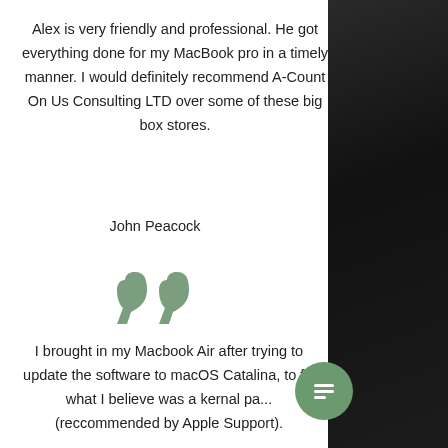Alex is very friendly and professional. He got everything done for my MacBook pro in a timely manner. I would definitely recommend A-Count On Us Consulting LTD over some of these big box stores.
John Peacock
[Figure (illustration): Large green closing double quotation mark decorative symbol]
I brought in my Macbook Air after trying to update the software to macOS Catalina, to fix what I believe was a kernal pa... (reccommended by Apple Support).
[Figure (illustration): Dark panel background on the right side of the page with layered curved shapes]
[Figure (illustration): Green circular chat bubble icon with message lines symbol]